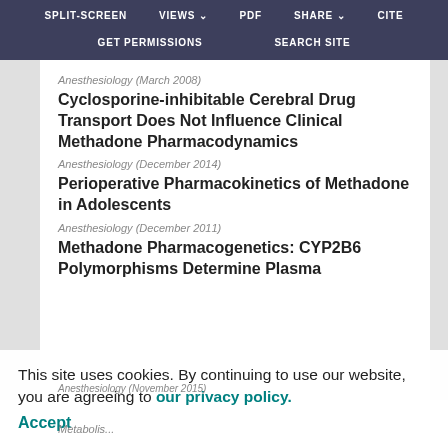SPLIT-SCREEN   VIEWS   PDF   SHARE   CITE   GET PERMISSIONS   SEARCH SITE
Anesthesiology (March 2008)
Cyclosporine-inhibitable Cerebral Drug Transport Does Not Influence Clinical Methadone Pharmacodynamics
Anesthesiology (December 2014)
Perioperative Pharmacokinetics of Methadone in Adolescents
Anesthesiology (December 2011)
Methadone Pharmacogenetics: CYP2B6 Polymorphisms Determine Plasma...
Anesthesiology (November 2015)
This site uses cookies. By continuing to use our website, you are agreeing to our privacy policy. Accept